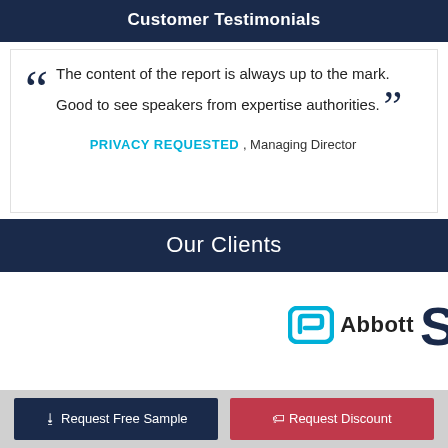Customer Testimonials
The content of the report is always up to the mark. Good to see speakers from expertise authorities.
PRIVACY REQUESTED , Managing Director
Our Clients
[Figure (logo): Abbott company logo with stylized blue square icon and 'Abbott' text]
Request Free Sample
Request Discount